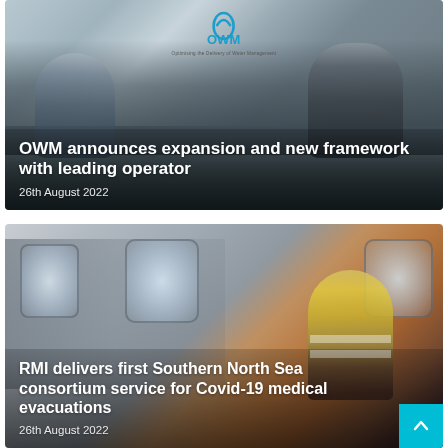[Figure (photo): Two men standing in front of an OWM (Optimising the Delivery of Water Management) company sign. The man on the left wears a suit jacket, the man on the right wears a dark polo shirt.]
OWM announces expansion and new framework with leading operator
26th August 2022
[Figure (photo): Interior of a helicopter or aircraft showing passenger seats, windows, and a worker in a yellow high-visibility vest standing near the window.]
RMI delivers first Southern North Sea consortium service for Covid-19 medical evacuations
26th August 2022